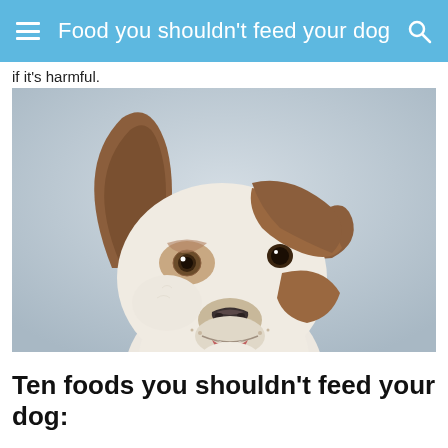Food you shouldn't feed your dog
if it's harmful.
[Figure (photo): Close-up photo of a brown and white dog with large ears, looking at the camera with its mouth slightly open, against a light grey background.]
Ten foods you shouldn't feed your dog: